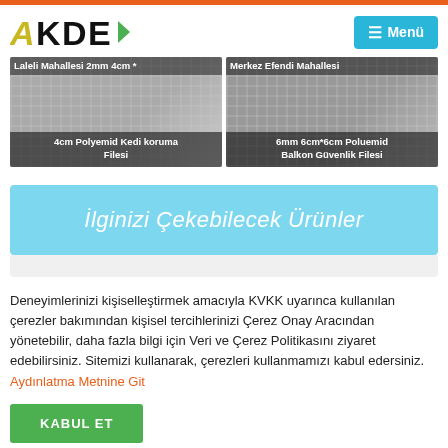[Figure (logo): AKDE logo with yellow/gold A, black KDE letters and green arrow, on white background]
[Figure (screenshot): Menu button with cyan/teal background and hamburger icon, labeled Menü]
[Figure (photo): Left product card: Laleli Mahallesi 2mm 4cm * 4cm Polyemid Kedi koruma Filesi - mesh/net product image]
[Figure (photo): Right product card: Merkez Efendi Mahallesi 6mm 6cm*6cm Poluemid Balkon Güvenlik Filesi - mesh/net product image]
İlginizi Çekebilecek Ürünler
Deneyimlerinizi kişiselleştirmek amacıyla KVKK uyarınca kullanılan çerezler bakımından kişisel tercihlerinizi Çerez Onay Aracından yönetebilir, daha fazla bilgi için Veri ve Çerez Politikasını ziyaret edebilirsiniz. Sitemizi kullanarak, çerezleri kullanmamızı kabul edersiniz. Aydınlatma Metnine Git
KABUL ET